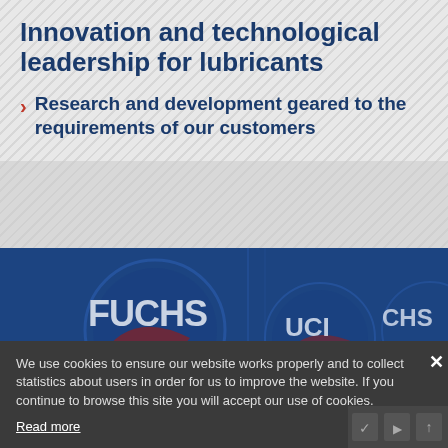Innovation and technological leadership for lubricants
Research and development geared to the requirements of our customers
[Figure (photo): FUCHS lubricants branding image showing FUCHS logos on barrels/containers with blue tint overlay]
We use cookies to ensure our website works properly and to collect statistics about users in order for us to improve the website. If you continue to browse this site you will accept our use of cookies.
Read more